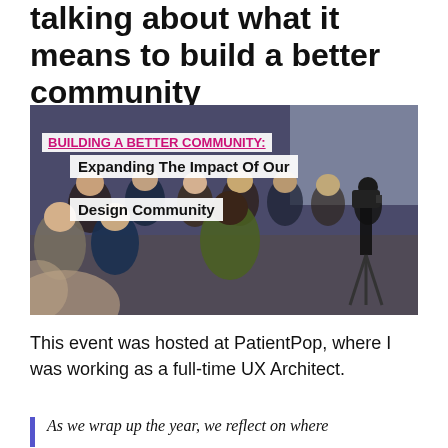talking about what it means to build a better community
[Figure (photo): Photo of an audience at an event titled 'BUILDING A BETTER COMMUNITY: Expanding The Impact Of Our Design Community', hosted at PatientPop. People are seated facing forward, a camera on a tripod is visible on the right side.]
This event was hosted at PatientPop, where I was working as a full-time UX Architect.
As we wrap up the year, we reflect on where